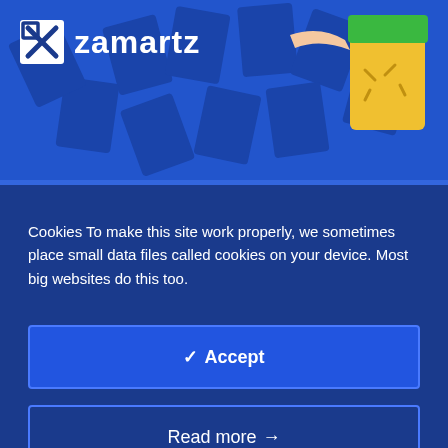[Figure (illustration): Zamartz website header banner with blue background showing scattered dark blue card shapes, logo with Z in a box and 'zamartz' text in white, and a cartoon yellow character wearing a green hat on the right side]
Cookies To make this site work properly, we sometimes place small data files called cookies on your device. Most big websites do this too.
✓ Accept
Read more →
Change Settings ⚙